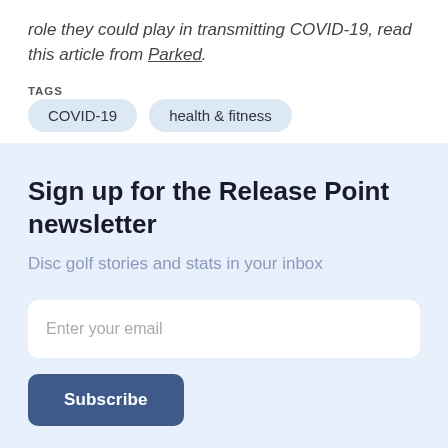role they could play in transmitting COVID-19, read this article from Parked.
TAGS
COVID-19
health & fitness
Sign up for the Release Point newsletter
Disc golf stories and stats in your inbox
Enter your email
Subscribe